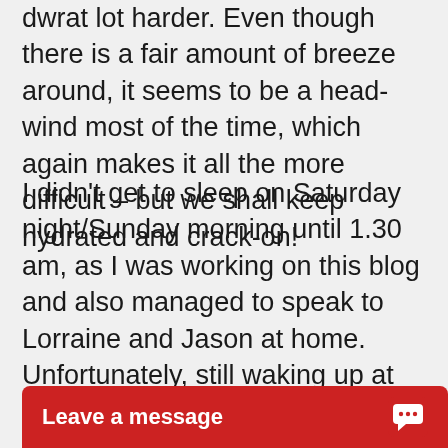dwrat lot harder. Even though there is a fair amount of breeze around, it seems to be a head-wind most of the time, which again makes it all the more difficult – but we shall keep hydrated and crack-on!
I didn't get to sleep on Saturday night/Sunday morning until 1.30 am, as I was working on this blog and also managed to speak to Lorraine and Jason at home. Unfortunately, still waking up at 5.30am meant that I only got 4 hours sleep. On top of the very hard day yesterday, didn't make too much of a fresh start for me, but a coffee and a bit of breakfast hel... feeling on top t...
Leave a message